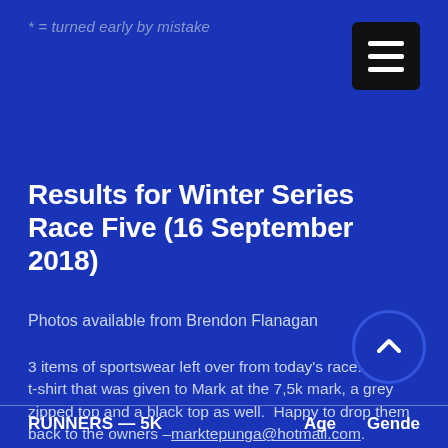* = turned early by mistake
Results for Winter Series Race Five (16 September 2018)
Photos available from Brendon Flanagan
3 items of sportswear left over from today's race: a blue t-shirt that was given to Mark at the 7,5k mark, a grey zipped top and a black top as well. Happy to drop them back to the owners –marktepunga@hotmail.com.
| RUNNERS — 5K | Age | Gender |
| --- | --- | --- |